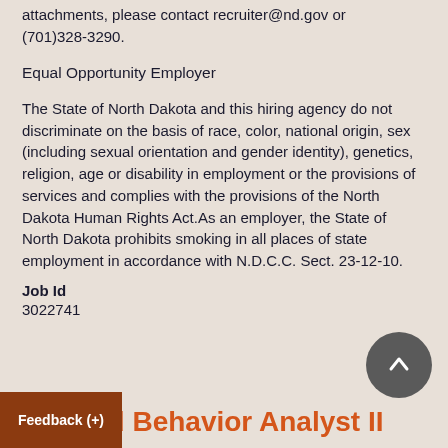attachments, please contact recruiter@nd.gov or (701)328-3290.
Equal Opportunity Employer
The State of North Dakota and this hiring agency do not discriminate on the basis of race, color, national origin, sex (including sexual orientation and gender identity), genetics, religion, age or disability in employment or the provisions of services and complies with the provisions of the North Dakota Human Rights Act.As an employer, the State of North Dakota prohibits smoking in all places of state employment in accordance with N.D.C.C. Sect. 23-12-10.
Job Id
3022741
Applied Behavior Analyst II